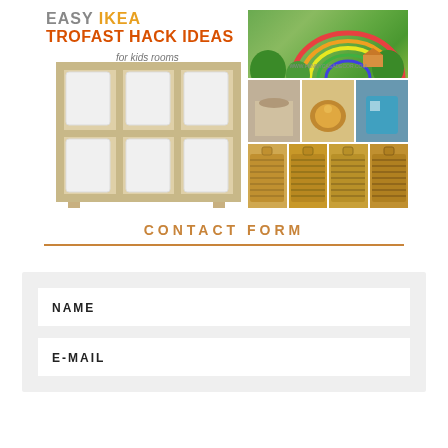[Figure (illustration): Collage image featuring 'EASY IKEA TROFAST HACK IDEAS for kids rooms' title overlaid on an IKEA TROFAST shelf unit with white bins on the left, and a photo collage on the right showing various wicker baskets and toy storage arrangements in children's rooms.]
CONTACT FORM
NAME
E-MAIL